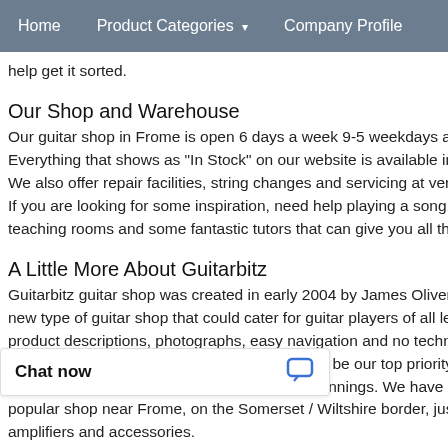Home | Product Categories ▾ | Company Profile
help get it sorted.
Our Shop and Warehouse
Our guitar shop in Frome is open 6 days a week 9-5 weekdays and [continues]
Everything that shows as "In Stock" on our website is available in o[continues]
We also offer repair facilities, string changes and servicing at very c[continues]
If you are looking for some inspiration, need help playing a song, wa[continues]
teaching rooms and some fantastic tutors that can give you all the h[continues]
A Little More About Guitarbitz
Guitarbitz guitar shop was created in early 2004 by James Oliver ar[continues]
new type of guitar shop that could cater for guitar players of all leve[continues]
product descriptions, photographs, easy navigation and no techno b[continues]
We always vowed that customer service would be our top priority, s[continues]
We have come a long way since our early beginnings. We have dec[continues]
popular shop near Frome, on the Somerset / Wiltshire border, just s[continues]
amplifiers and accessories.